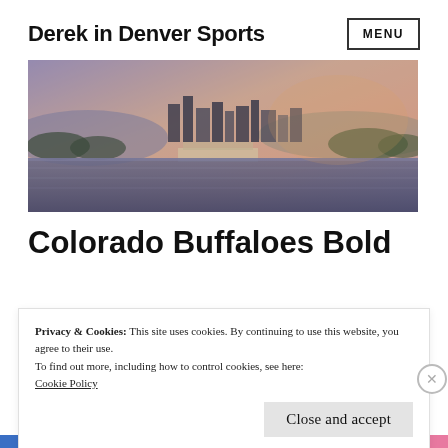Derek in Denver Sports
[Figure (photo): Denver city skyline at dusk reflected in a lake, with misty purple-orange sky and trees in the foreground]
Colorado Buffaloes Bold
Privacy & Cookies: This site uses cookies. By continuing to use this website, you agree to their use.
To find out more, including how to control cookies, see here:
Cookie Policy
Close and accept